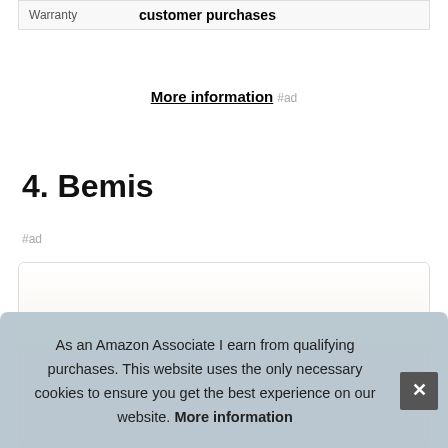| Warranty |  |
| --- | --- |
| Warranty | customer purchases |
More information #ad
4. Bemis
#ad
As an Amazon Associate I earn from qualifying purchases. This website uses the only necessary cookies to ensure you get the best experience on our website. More information